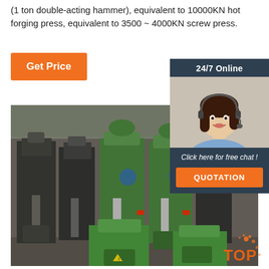(1 ton double-acting hammer), equivalent to 10000KN hot forging press, equivalent to 3500 ~ 4000KN screw press.
Get Price
24/7 Online
[Figure (photo): Woman with headset smiling, customer support representative]
Click here for free chat !
QUOTATION
[Figure (photo): Industrial forging hammers in a factory workshop, several large green and black machines lined up in a row]